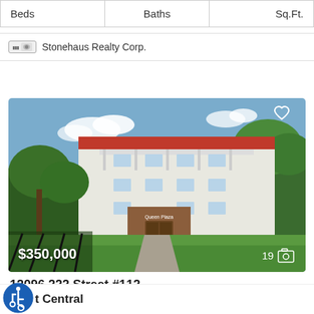| Beds | Baths | Sq.Ft. |
| --- | --- | --- |
Stonehaus Realty Corp.
[Figure (photo): Exterior photo of a multi-story white apartment building with red roof trim, balconies, green trees, and a walkway. Price overlay shows $350,000. Photo count overlay shows 19.]
12096 222 Street #112
MAPLE RIDGE, BC V2X 5W1
t Central